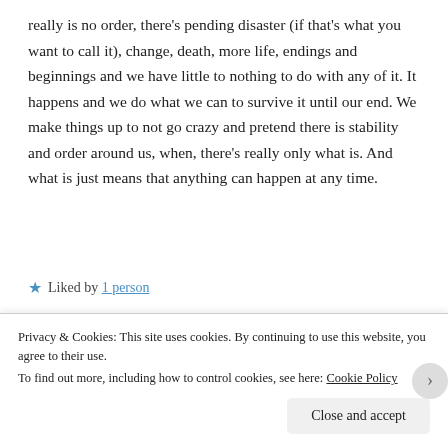really is no order, there's pending disaster (if that's what you want to call it), change, death, more life, endings and beginnings and we have little to nothing to do with any of it. It happens and we do what we can to survive it until our end. We make things up to not go crazy and pretend there is stability and order around us, when, there's really only what is. And what is just means that anything can happen at any time.
★ Liked by 1 person
Watt
Privacy & Cookies: This site uses cookies. By continuing to use this website, you agree to their use.
To find out more, including how to control cookies, see here: Cookie Policy